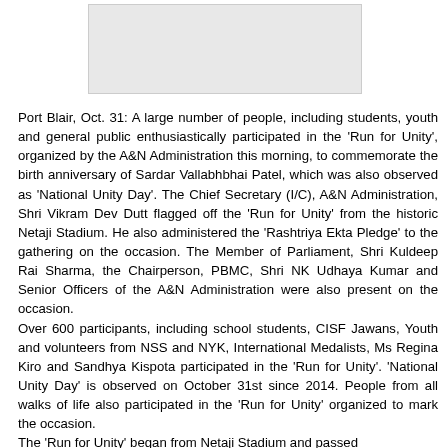[Figure (photo): Photograph placeholder at top of page]
Port Blair, Oct. 31: A large number of people, including students, youth and general public enthusiastically participated in the 'Run for Unity', organized by the A&N Administration this morning, to commemorate the birth anniversary of Sardar Vallabhbhai Patel, which was also observed as 'National Unity Day'. The Chief Secretary (I/C), A&N Administration, Shri Vikram Dev Dutt flagged off the 'Run for Unity' from the historic Netaji Stadium. He also administered the 'Rashtriya Ekta Pledge' to the gathering on the occasion. The Member of Parliament, Shri Kuldeep Rai Sharma, the Chairperson, PBMC, Shri NK Udhaya Kumar and Senior Officers of the A&N Administration were also present on the occasion.
Over 600 participants, including school students, CISF Jawans, Youth and volunteers from NSS and NYK, International Medalists, Ms Regina Kiro and Sandhya Kispota participated in the 'Run for Unity'. 'National Unity Day' is observed on October 31st since 2014. People from all walks of life also participated in the 'Run for Unity' organized to mark the occasion.
The 'Run for Unity' began from Netaji Stadium and passed